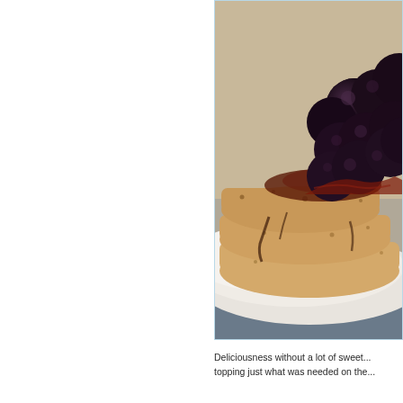[Figure (photo): Close-up photo of a stack of blueberry pancakes topped with large dark blueberries/cherries in syrup, on a white plate, against a beige background. The image is cropped to show the right side of the pancakes with the berry topping prominently displayed.]
Deliciousness without a lot of sweet... topping just what was needed on the...